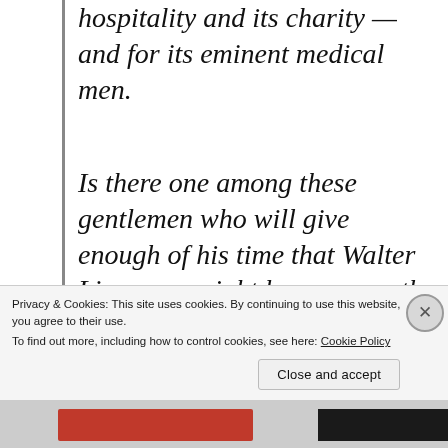hospitality and its charity — and for its eminent medical men.
Is there one among these gentlemen who will give enough of his time that Walter Lincecum might become worthy of that wife and baby and bring to him the joy of hearing the words of foraiveness which he craves
Privacy & Cookies: This site uses cookies. By continuing to use this website, you agree to their use.
To find out more, including how to control cookies, see here: Cookie Policy
Close and accept